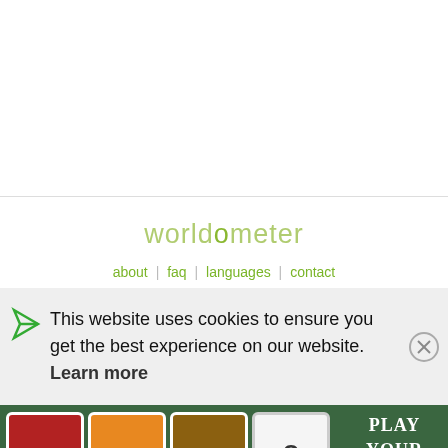[Figure (logo): Worldometer logo text in light green/olive color]
about | faq | languages | contact
This website uses cookies to ensure you get the best experience on our website. Learn more
[Figure (illustration): Play Your Favorite Mahjong advertisement banner with mahjong tile images]